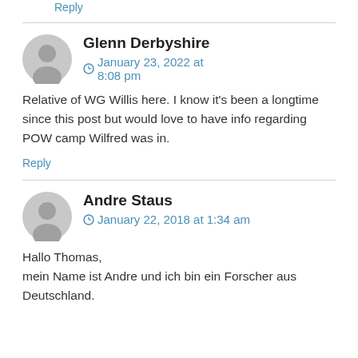Reply
Glenn Derbyshire
January 23, 2022 at 8:08 pm
Relative of WG Willis here. I know it's been a longtime since this post but would love to have info regarding POW camp Wilfred was in.
Reply
Andre Staus
January 22, 2018 at 1:34 am
Hallo Thomas,
mein Name ist Andre und ich bin ein Forscher aus Deutschland.